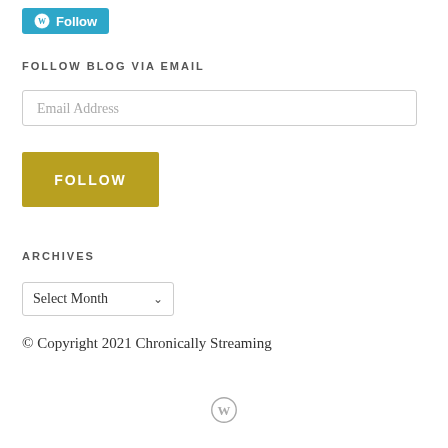[Figure (logo): WordPress Follow button with W logo in blue/teal]
FOLLOW BLOG VIA EMAIL
Email Address
FOLLOW
ARCHIVES
Select Month
© Copyright 2021 Chronically Streaming
[Figure (logo): WordPress W logo at bottom center]